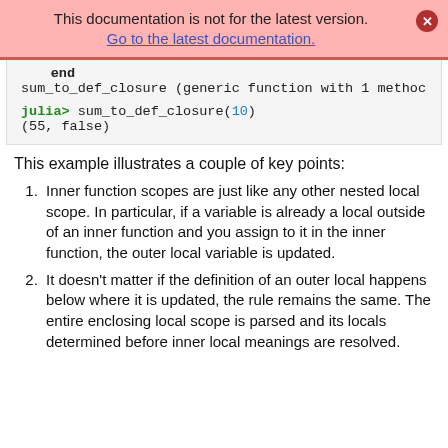This documentation is not for the latest version. Go to the latest documentation.
[Figure (screenshot): Code block showing Julia REPL output: 'end', 'sum_to_def_closure (generic function with 1 method', 'julia> sum_to_def_closure(10)', '(55, false)']
This example illustrates a couple of key points:
Inner function scopes are just like any other nested local scope. In particular, if a variable is already a local outside of an inner function and you assign to it in the inner function, the outer local variable is updated.
It doesn't matter if the definition of an outer local happens below where it is updated, the rule remains the same. The entire enclosing local scope is parsed and its locals determined before inner local meanings are resolved.